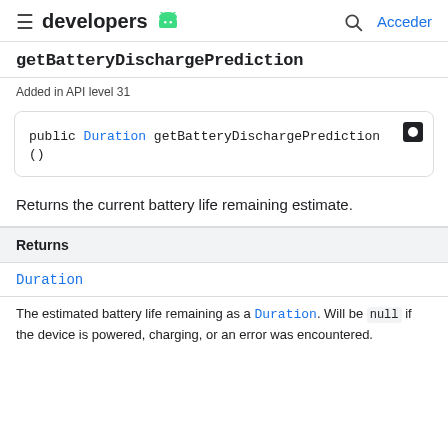developers  Acceder
getBatteryDischargePrediction
Added in API level 31
Returns the current battery life remaining estimate.
| Returns |
| --- |
| Duration |
The estimated battery life remaining as a Duration. Will be null if the device is powered, charging, or an error was encountered.